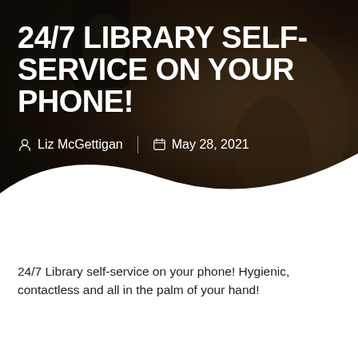[Figure (photo): Dark background photo showing a hand holding a smartphone with a thumbs-up gesture, used as a hero banner image for the article.]
24/7 LIBRARY SELF-SERVICE ON YOUR PHONE!
Liz McGettigan  |  May 28, 2021
24/7 Library self-service on your phone! Hygienic, contactless and all in the palm of your hand!